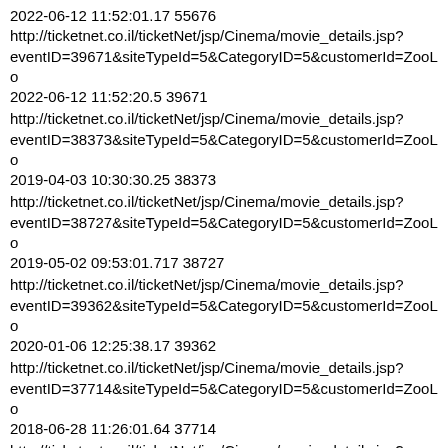2022-06-12 11:52:01.17 55676
http://ticketnet.co.il/ticketNet/jsp/Cinema/movie_details.jsp?eventID=39671&siteTypeId=5&CategoryID=5&customerId=ZooLo
2022-06-12 11:52:20.5 39671
http://ticketnet.co.il/ticketNet/jsp/Cinema/movie_details.jsp?eventID=38373&siteTypeId=5&CategoryID=5&customerId=ZooLo
2019-04-03 10:30:30.25 38373
http://ticketnet.co.il/ticketNet/jsp/Cinema/movie_details.jsp?eventID=38727&siteTypeId=5&CategoryID=5&customerId=ZooLo
2019-05-02 09:53:01.717 38727
http://ticketnet.co.il/ticketNet/jsp/Cinema/movie_details.jsp?eventID=39362&siteTypeId=5&CategoryID=5&customerId=ZooLo
2020-01-06 12:25:38.17 39362
http://ticketnet.co.il/ticketNet/jsp/Cinema/movie_details.jsp?eventID=37714&siteTypeId=5&CategoryID=5&customerId=ZooLo
2018-06-28 11:26:01.64 37714
http://ticketnet.co.il/ticketNet/jsp/Cinema/movie_details.jsp?eventID=39673&siteTypeId=5&CategoryID=5&customerId=ZooLo
2022-06-20 11:49:01.75 39673
http://ticketnet.co.il/ticketNet/jsp/Cinema/movie_details.jsp?eventID=39701&siteTypeId=5&CategoryID=5&customerId=ZooLo
2022-06-30 11:53:56.123 39701
http://ticketnet.co.il/ticketNet/jsp/Cinema/movie_details.jsp?eventID=39702&siteTypeId=5&CategoryID=5&customerId=ZooLo
2022-08-10 14:29:14.327 39702